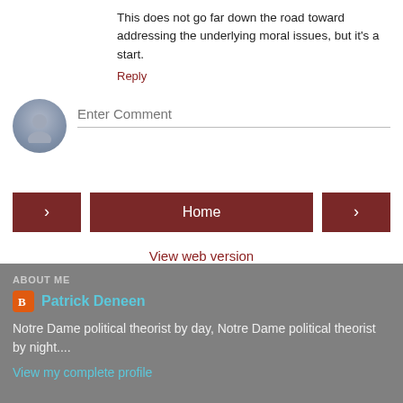This does not go far down the road toward addressing the underlying moral issues, but it's a start.
Reply
[Figure (other): Comment input field with avatar icon placeholder and 'Enter Comment' placeholder text]
[Figure (other): Navigation buttons: left arrow, Home (center), right arrow, plus View web version link below]
ABOUT ME
Patrick Deneen
Notre Dame political theorist by day, Notre Dame political theorist by night....
View my complete profile
Powered by Blogger.